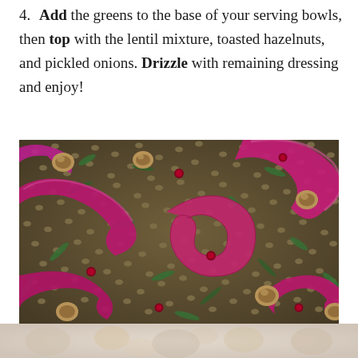4. Add the greens to the base of your serving bowls, then top with the lentil mixture, toasted hazelnuts, and pickled onions. Drizzle with remaining dressing and enjoy!
[Figure (photo): Close-up overhead photo of a lentil salad with bright pink/magenta pickled red onion strips, whole toasted hazelnuts, green herbs and leaves, and pomegranate seeds scattered throughout.]
[Figure (photo): Partial view of another food photo at the bottom of the page, faded/light tones showing what appears to be nuts and produce.]